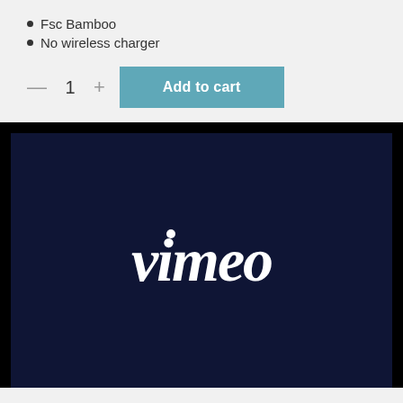Fsc Bamboo
No wireless charger
— 1 + Add to cart
[Figure (logo): Vimeo logo — white cursive 'vimeo' text on dark navy background]